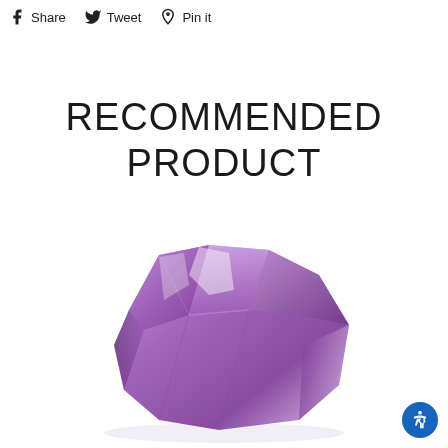Share   Tweet   Pin it
RECOMMENDED PRODUCT
[Figure (photo): A raw amethyst crystal point with purple coloring on a white background]
[Figure (other): Accessibility icon button (blue circle with person icon)]